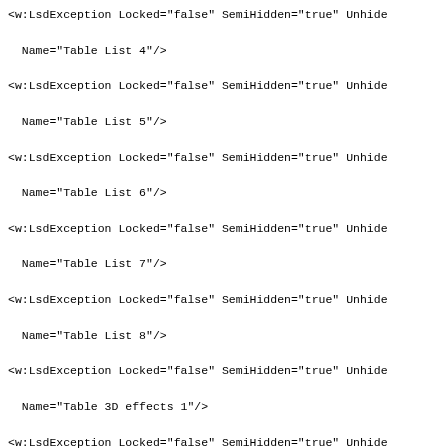<w:LsdException Locked="false" SemiHidden="true" Unhide
  Name="Table List 4"/>
<w:LsdException Locked="false" SemiHidden="true" Unhide
  Name="Table List 5"/>
<w:LsdException Locked="false" SemiHidden="true" Unhide
  Name="Table List 6"/>
<w:LsdException Locked="false" SemiHidden="true" Unhide
  Name="Table List 7"/>
<w:LsdException Locked="false" SemiHidden="true" Unhide
  Name="Table List 8"/>
<w:LsdException Locked="false" SemiHidden="true" Unhide
  Name="Table 3D effects 1"/>
<w:LsdException Locked="false" SemiHidden="true" Unhide
  Name="Table 3D effects 2"/>
<w:LsdException Locked="false" SemiHidden="true" Unhide
  Name="Table 3D effects 3"/>
<w:LsdException Locked="false" SemiHidden="true" Unhide
  Name="Table Contemporary"/>
<w:LsdException Locked="false" SemiHidden="true" Unhide
  Name="Table Elegant"/>
<w:LsdException Locked="false" SemiHidden="true" Unhide
  Name="Table Professional"/>
<w:LsdException Locked="false" SemiHidden="true" Unhide
  Name="Table Subtle 1"/>
<w:LsdException Locked="false" SemiHidden="true" Unhide
  Name="Table Subtle 2"/>
<w:LsdException Locked="false" SemiHidden="true" Unhide
  Name="Table Web 1"/>
<w:LsdException Locked="false" SemiHidden="true" Unhide
  Name="Table Web 2"/>